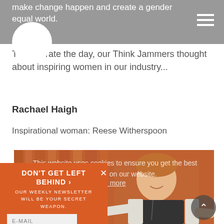make change happen and create a gender equal world.
To celebrate the day, our Think Jammers thought about inspiring women in our industry...
Rachael Haigh
Inspirational woman: Reese Witherspoon
[Figure (photo): Woman standing in front of orange curtain background, smiling and posing with arms out]
This website uses cookies to ensure you get the best experience on our website.
Learn more
DON'T GET LEFT BEHIND >
OUR WEEKLY NEWSLETTER WILL BE YOUR SECRET WEAPON.
E-MAIL